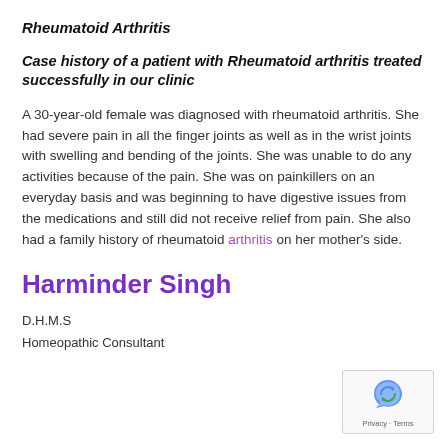Rheumatoid Arthritis
Case history of a patient with Rheumatoid arthritis treated successfully in our clinic
A 30-year-old female was diagnosed with rheumatoid arthritis. She had severe pain in all the finger joints as well as in the wrist joints with swelling and bending of the joints. She was unable to do any activities because of the pain. She was on painkillers on an everyday basis and was beginning to have digestive issues from the medications and still did not receive relief from pain. She also had a family history of rheumatoid arthritis on her mother's side.
Harminder Singh
D.H.M.S
Homeopathic Consultant